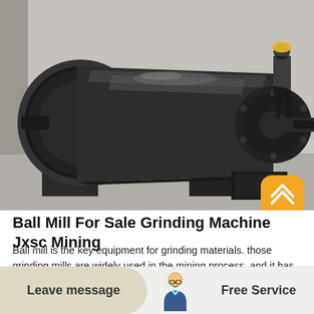[Figure (photo): A large industrial ball mill grinding machine sitting in a factory/warehouse setting. The mill is a large dark gray cylindrical drum with flanged ends, mounted on a stand. A worker in a hard hat is visible in the background on the right. The machine is black/dark gray steel.]
Ball Mill For Sale Grinding Machine Jxsc Mining
Ball mill is the key equipment for grinding materials. those grinding mills are widely used in the mining process, and it has a wide range of usage in grinding mineral or material into fine powder, such as gold, iron、zinc ore, copper, etc JXSC Mining produce reliable effective ball mill for long lif…
Leave message   Free Service